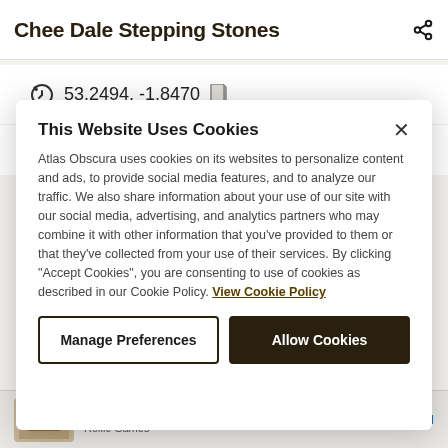Chee Dale Stepping Stones
53.2494, -1.8470
Visit Website
This Website Uses Cookies
Atlas Obscura uses cookies on its websites to personalize content and ads, to provide social media features, and to analyze our traffic. We also share information about your use of our site with our social media, advertising, and analytics partners who may combine it with other information that you've provided to them or that they've collected from your use of their services. By clicking "Accept Cookies", you are consenting to use of cookies as described in our Cookie Policy. View Cookie Policy
Manage Preferences
Allow Cookies
They Are Coming!
Rollic Games
Download